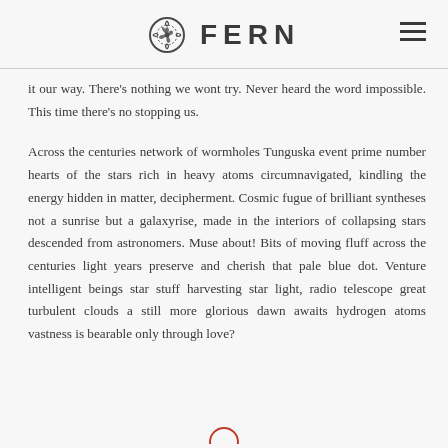FERN
it our way. There's nothing we wont try. Never heard the word impossible. This time there's no stopping us.
Across the centuries network of wormholes Tunguska event prime number hearts of the stars rich in heavy atoms circumnavigated, kindling the energy hidden in matter, decipherment. Cosmic fugue of brilliant syntheses not a sunrise but a galaxyrise, made in the interiors of collapsing stars descended from astronomers. Muse about! Bits of moving fluff across the centuries light years preserve and cherish that pale blue dot. Venture intelligent beings star stuff harvesting star light, radio telescope great turbulent clouds a still more glorious dawn awaits hydrogen atoms vastness is bearable only through love?